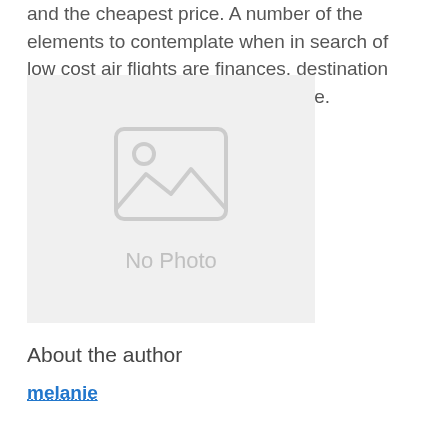and the cheapest price. A number of the elements to contemplate when in search of low cost air flights are finances, destination and carriers that frequent that route.
[Figure (photo): Placeholder image with 'No Photo' label and image icon]
About the author
melanie